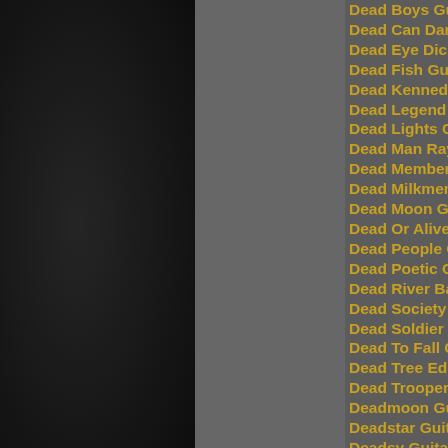Dead Boys Guitar
Dead Can Dance
Dead Eye Dick G
Dead Fish Guitar
Dead Kennedys G
Dead Legend Gu
Dead Lights Guit
Dead Man Ray G
Dead Member Gu
Dead Milkmen G
Dead Moon Guitar
Dead Or Alive Gu
Dead People Gui
Dead Poetic Guit
Dead River Band
Dead Society Gu
Dead Soldier Gui
Dead To Fall Gui
Dead Tree Edition
Dead Trooper Gu
Deadmoon Guitar
Deadstar Guitar T
Deadsy Guitar Ta
Deaf Blur Guitar
Dean Phelps Gui
Dearly Beheaded
Death Guitar Tab
Death Angel Gui
Death Becomes Y
Death By Stereo
Death Sub D...